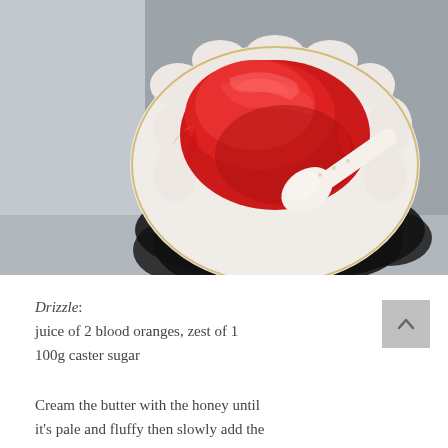[Figure (photo): Overhead photo of a white decorative plate with gold rim containing a red dessert (appears to be a blood orange jelly or cake slice) with a white ceramic spoon. The plate sits on a dark/black surface casting a flower-shaped shadow.]
Drizzle: juice of 2 blood oranges, zest of 1 100g caster sugar
Cream the butter with the honey until it's pale and fluffy then slowly add the